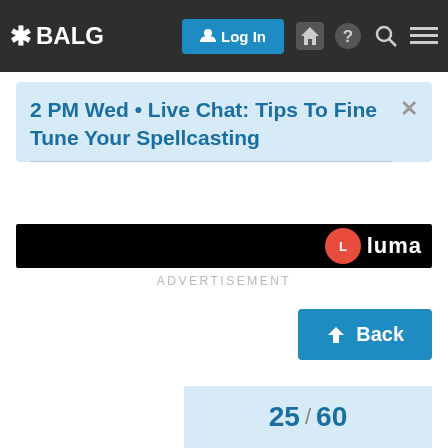* BALG  Log In  [home] [?] [search] [menu]
2 PM Wed • Live Chat: Tips To Fine Tune Your Spellcasting
[Figure (screenshot): Dark banner preview strip with a red circular logo and white text 'luma' on black background]
ADVERTISEMENT
↓ Back
25 / 60